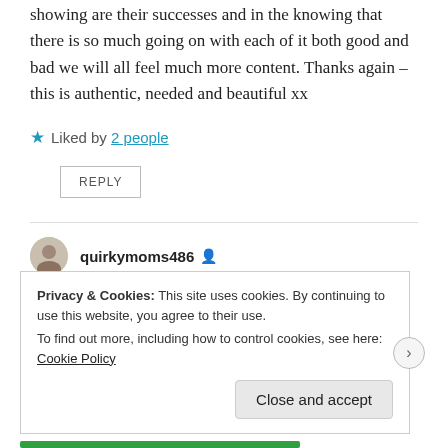showing are their successes and in the knowing that there is so much going on with each of it both good and bad we will all feel much more content. Thanks again – this is authentic, needed and beautiful xx
★ Liked by 2 people
REPLY
quirkymoms486
June 1, 2020 at 8:03 pm
Privacy & Cookies: This site uses cookies. By continuing to use this website, you agree to their use.
To find out more, including how to control cookies, see here: Cookie Policy
Close and accept